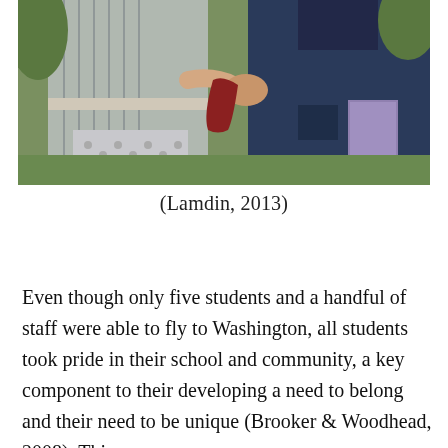[Figure (photo): Two people shaking hands outdoors on grass. One person wearing a striped grey jacket and patterned leggings, the other wearing a navy blue hoodie and holding a purple book/folder. A red backpack is visible in the background.]
(Lamdin, 2013)
Even though only five students and a handful of staff were able to fly to Washington, all students took pride in their school and community, a key component to their developing a need to belong and their need to be unique (Brooker & Woodhead, 2008). This can